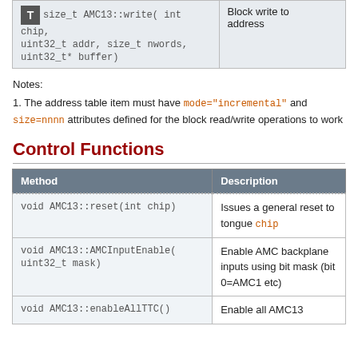|  |  |
| --- | --- |
| size_t AMC13::write( int chip, uint32_t addr, size_t nwords, uint32_t* buffer) | Block write to address |
Notes:
1. The address table item must have mode="incremental" and size=nnnn attributes defined for the block read/write operations to work
Control Functions
| Method | Description |
| --- | --- |
| void AMC13::reset(int chip) | Issues a general reset to tongue chip |
| void AMC13::AMCInputEnable( uint32_t mask) | Enable AMC backplane inputs using bit mask (bit 0=AMC1 etc) |
| void AMC13::enableAllTTC() | Enable all AMC13 |